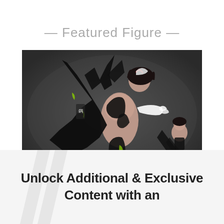— Featured Figure —
[Figure (photo): A dark-themed anime figure of a maid-outfit character with black armor/weapons, dynamic pose, with a smaller secondary figure visible in the background right. Dark grey studio background.]
Unlock Additional & Exclusive Content with an